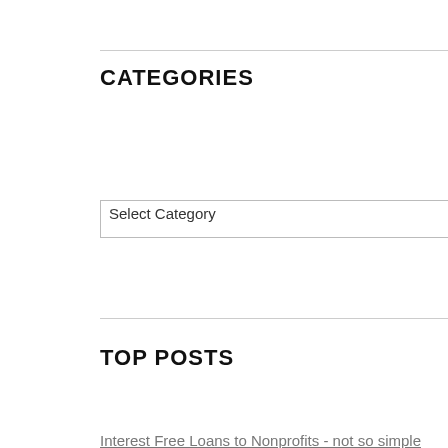CATEGORIES
[Figure (screenshot): A dropdown select box labeled 'Select Category' with a downward-pointing chevron arrow on the right.]
TOP POSTS
Interest Free Loans to Nonprofits - not so simple
The Big Lie - Did the Trump tax plan cause a big decline in charitable giving?
Sample NYPMIFA Language for Endowment Pledge Forms and Other Solicitation Materials
New York Charities May Soon Face Unfriendly AG Audits
In case you were wondering about the IRA charitable provision....